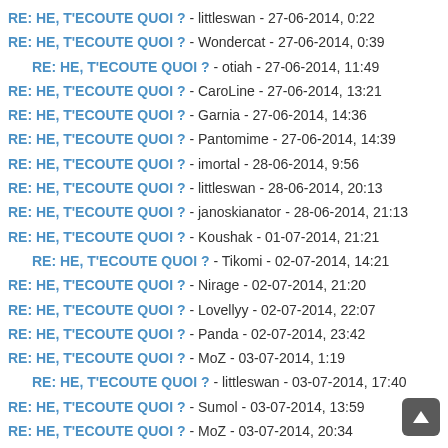RE: HE, T'ECOUTE QUOI ? - littleswan - 27-06-2014, 0:22
RE: HE, T'ECOUTE QUOI ? - Wondercat - 27-06-2014, 0:39
RE: HE, T'ECOUTE QUOI ? - otiah - 27-06-2014, 11:49
RE: HE, T'ECOUTE QUOI ? - CaroLine - 27-06-2014, 13:21
RE: HE, T'ECOUTE QUOI ? - Garnia - 27-06-2014, 14:36
RE: HE, T'ECOUTE QUOI ? - Pantomime - 27-06-2014, 14:39
RE: HE, T'ECOUTE QUOI ? - imortal - 28-06-2014, 9:56
RE: HE, T'ECOUTE QUOI ? - littleswan - 28-06-2014, 20:13
RE: HE, T'ECOUTE QUOI ? - janoskianator - 28-06-2014, 21:13
RE: HE, T'ECOUTE QUOI ? - Koushak - 01-07-2014, 21:21
RE: HE, T'ECOUTE QUOI ? - Tikomi - 02-07-2014, 14:21
RE: HE, T'ECOUTE QUOI ? - Nirage - 02-07-2014, 21:20
RE: HE, T'ECOUTE QUOI ? - Lovellyy - 02-07-2014, 22:07
RE: HE, T'ECOUTE QUOI ? - Panda - 02-07-2014, 23:42
RE: HE, T'ECOUTE QUOI ? - MoZ - 03-07-2014, 1:19
RE: HE, T'ECOUTE QUOI ? - littleswan - 03-07-2014, 17:40
RE: HE, T'ECOUTE QUOI ? - Sumol - 03-07-2014, 13:59
RE: HE, T'ECOUTE QUOI ? - MoZ - 03-07-2014, 20:34
RE: HE, T'ECOUTE QUOI ? - coco0000 - 03-07-2014, 21:39
RE: HE, T'ECOUTE QUOI ? - Okalem - 06-07-2014, 0:57
RE: HE, T'ECOUTE QUOI ? - Wondercat - 07-07-2014, 16:02
RE: HE, T'ECOUTE QUOI ? - Lovellyy - 09-07-2014, 19:50
RE: HE, T'ECOUTE QUOI ?